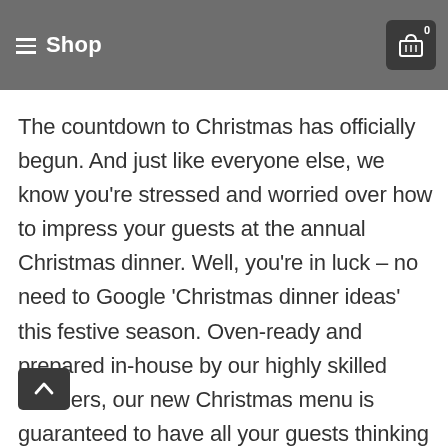Shop
The countdown to Christmas has officially begun. And just like everyone else, we know you're stressed and worried over how to impress your guests at the annual Christmas dinner. Well, you're in luck – no need to Google 'Christmas dinner ideas' this festive season. Oven-ready and prepared in-house by our highly skilled butchers, our new Christmas menu is guaranteed to have all your guests thinking you've become a pro chef overnight. All you need to do is place your order on our online store, and once it's